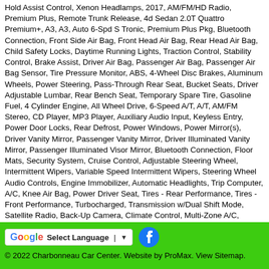Hold Assist Control, Xenon Headlamps, 2017, AM/FM/HD Radio, Premium Plus, Remote Trunk Release, 4d Sedan 2.0T Quattro Premium+, A3, A3, Auto 6-Spd S Tronic, Premium Plus Pkg, Bluetooth Connection, Front Side Air Bag, Front Head Air Bag, Rear Head Air Bag, Child Safety Locks, Daytime Running Lights, Traction Control, Stability Control, Brake Assist, Driver Air Bag, Passenger Air Bag, Passenger Air Bag Sensor, Tire Pressure Monitor, ABS, 4-Wheel Disc Brakes, Aluminum Wheels, Power Steering, Pass-Through Rear Seat, Bucket Seats, Driver Adjustable Lumbar, Rear Bench Seat, Temporary Spare Tire, Gasoline Fuel, 4 Cylinder Engine, All Wheel Drive, 6-Speed A/T, A/T, AM/FM Stereo, CD Player, MP3 Player, Auxiliary Audio Input, Keyless Entry, Power Door Locks, Rear Defrost, Power Windows, Power Mirror(s), Driver Vanity Mirror, Passenger Vanity Mirror, Driver Illuminated Vanity Mirror, Passenger Illuminated Visor Mirror, Bluetooth Connection, Floor Mats, Security System, Cruise Control, Adjustable Steering Wheel, Intermittent Wipers, Variable Speed Intermittent Wipers, Steering Wheel Audio Controls, Engine Immobilizer, Automatic Headlights, Trip Computer, A/C, Knee Air Bag, Power Driver Seat, Tires - Rear Performance, Tires - Front Performance, Turbocharged, Transmission w/Dual Shift Mode, Satellite Radio, Back-Up Camera, Climate Control, Multi-Zone A/C, Heated Mirrors, Leather Steering Wheel, Heated Front Seat(s), Leather Seats, Sun/Moonroof, Generic Sun/Moonroof, Integrated Turn Signal Mirrors, HD Radio, Rain Sensing Wipers, HID headlights, Headlights-Auto-Leveling, Gasoline Fuel, 4 Cylinder Engine, Front Collision Mitigation
© 2022 Charbonneau Car Center. Website by ProMax. View Sitemap.